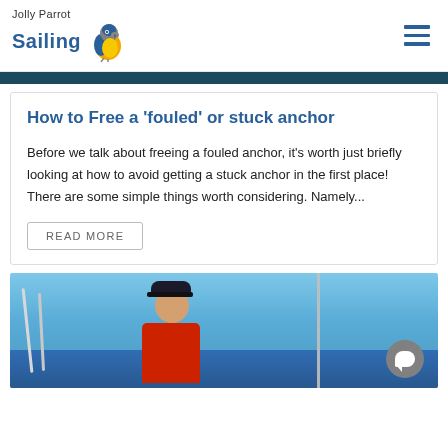Jolly Parrot Sailing
How to Free a 'fouled' or stuck anchor
Before we talk about freeing a fouled anchor, it's worth just briefly looking at how to avoid getting a stuck anchor in the first place! There are some simple things worth considering. Namely...
READ MORE
[Figure (photo): Photograph of a person in a red jacket and dark cap smiling on a sailboat, with blue sky and ocean in the background]